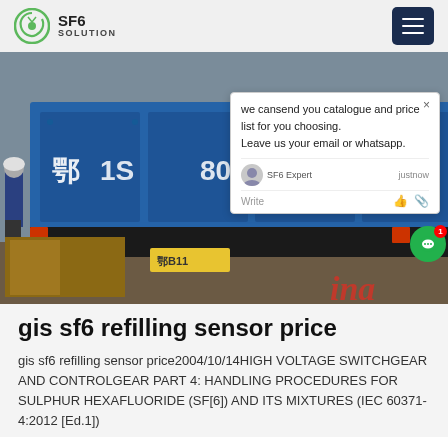SF6 SOLUTION
[Figure (photo): Photo of large blue industrial containers/truck with workers in a warehouse/factory setting. A chat popup overlay is visible on the right side of the image.]
gis sf6 refilling sensor price
gis sf6 refilling sensor price2004/10/14HIGH VOLTAGE SWITCHGEAR AND CONTROLGEAR PART 4: HANDLING PROCEDURES FOR SULPHUR HEXAFLUORIDE (SF[6]) AND ITS MIXTURES (IEC 60371-4:2012 [Ed.1])